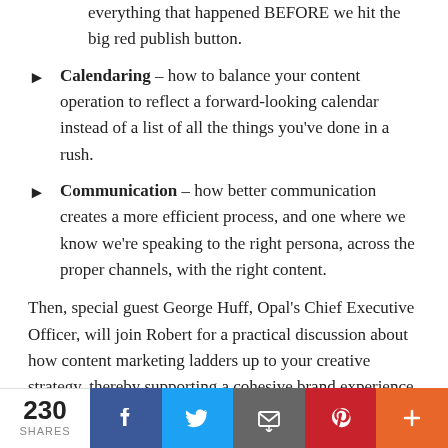everything that happened BEFORE we hit the big red publish button.
Calendaring – how to balance your content operation to reflect a forward-looking calendar instead of a list of all the things you've done in a rush.
Communication – how better communication creates a more efficient process, and one where we know we're speaking to the right persona, across the proper channels, with the right content.
Then, special guest George Huff, Opal's Chief Executive Officer, will join Robert for a practical discussion about how content marketing ladders up to your creative strategy, thereby supporting a cohesive brand experience in-market.
230 SHARES | Facebook | Twitter | Email | Pinterest | More